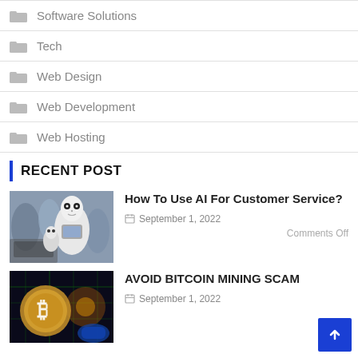Software Solutions
Tech
Web Design
Web Development
Web Hosting
RECENT POST
[Figure (photo): AI robot (Pepper) being demonstrated to a person with a tablet, crowd in background]
How To Use AI For Customer Service?
September 1, 2022
Comments Off
[Figure (photo): Bitcoin mining cryptocurrency digital concept with glowing coin and circuit board background]
AVOID BITCOIN MINING SCAM
September 1, 2022